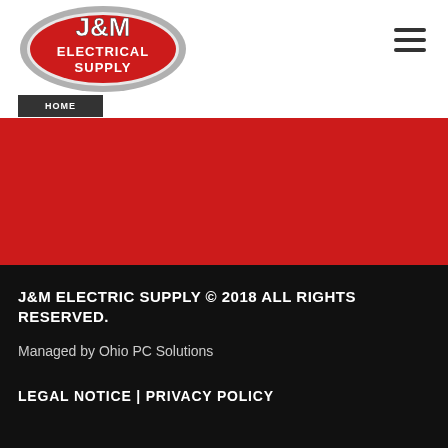[Figure (logo): J&M Electrical Supply logo — oval shaped with red and white lettering on grey oval background]
J&M ELECTRIC SUPPLY © 2018 ALL RIGHTS RESERVED.

Managed by Ohio PC Solutions

LEGAL NOTICE | PRIVACY POLICY